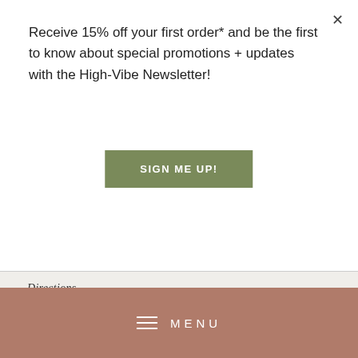Receive 15% off your first order* and be the first to know about special promotions + updates with the High-Vibe Newsletter!
SIGN ME UP!
Directions
Heat a good lug of olive oil in a large pot over medium heat. Add the onions and celery and cook for 7 minutes, then add the garlic and cook for another 2 minutes, stirring occasionally, until soft but not
MENU